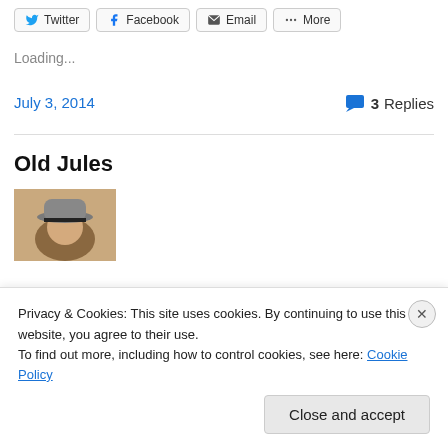[Figure (screenshot): Share bar with Twitter, Facebook, Email, and More buttons]
Loading...
July 3, 2014
3 Replies
Old Jules
[Figure (photo): Avatar photo of person wearing cowboy hat]
Privacy & Cookies: This site uses cookies. By continuing to use this website, you agree to their use.
To find out more, including how to control cookies, see here: Cookie Policy